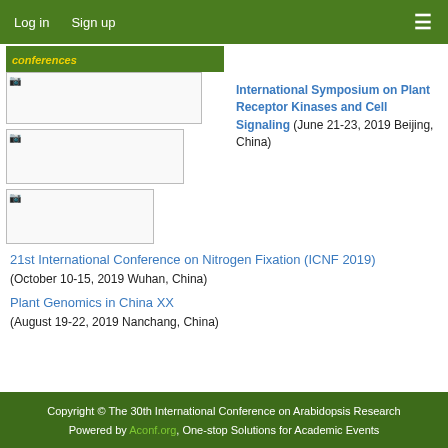Log in   Sign up
conferences
[Figure (photo): Broken image placeholder (wide, top)]
[Figure (photo): Broken image placeholder (medium, middle)]
[Figure (photo): Broken image placeholder (small, bottom)]
International Symposium on Plant Receptor Kinases and Cell Signaling (June 21-23, 2019 Beijing, China)
21st International Conference on Nitrogen Fixation (ICNF 2019)
(October 10-15, 2019 Wuhan, China)
Plant Genomics in China XX
(August 19-22, 2019 Nanchang, China)
Copyright © The 30th International Conference on Arabidopsis Research
Powered by Aconf.org, One-stop Solutions for Academic Events